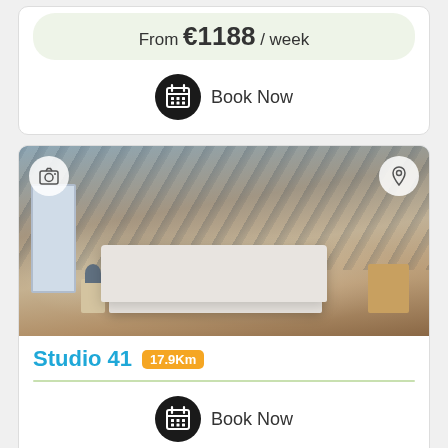From €1188 / week
Book Now
[Figure (photo): Bedroom photo for Studio 41 showing a double bed with white linens, wooden floor, decorative wall mural with dark leaf/feather pattern, nightstands with lamps, and a wooden side table. Camera icon top-left, map pin icon top-right.]
Studio 41  17.9Km
Book Now
[Figure (photo): Partial bottom listing card showing outdoor/garden photo]